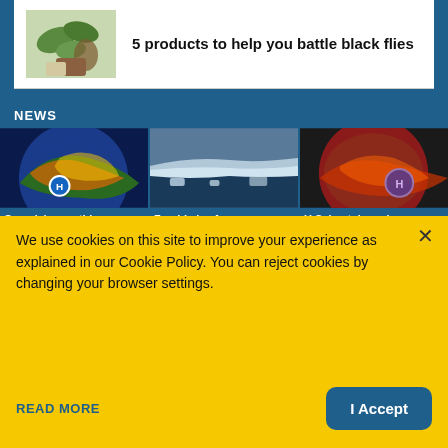[Figure (photo): Image of herbs and natural products (green leaves, jar, cloth) next to article title]
5 products to help you battle black flies
NEWS
[Figure (photo): Weather map showing globe with heat dome over Canada, H marker visible]
Canada's monthly
[Figure (photo): Photo of icebergs or glacier ice at sea, dark water below]
Zombie ice from
[Figure (photo): Weather map showing heat dome over U.S., red/orange colors, H marker]
U.S. heat dome is
We use cookies on this site to improve your experience as explained in our Cookie Policy. You can reject cookies by changing your browser settings.

READ MORE    I Accept